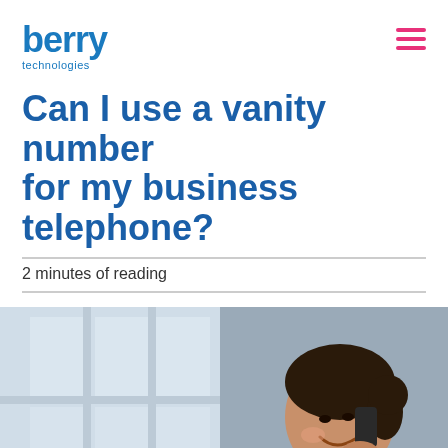berry technologies
Can I use a vanity number for my business telephone?
2 minutes of reading
[Figure (photo): A smiling young woman with dark hair in a bun, talking on a smartphone, wearing a light blue shirt, with a blurred office/window background and a laptop partially visible.]